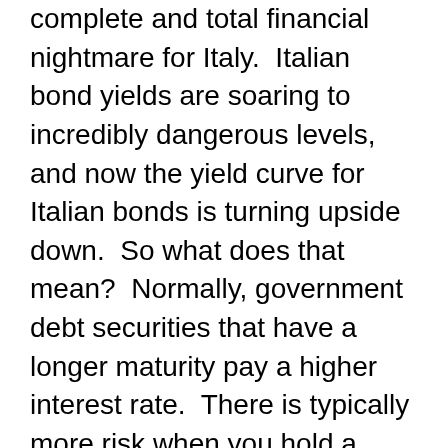complete and total financial nightmare for Italy. Italian bond yields are soaring to incredibly dangerous levels, and now the yield curve for Italian bonds is turning upside down. So what does that mean? Normally, government debt securities that have a longer maturity pay a higher interest rate. There is typically more risk when you hold a bond for an extended period of time, so investors normally demand a higher return for holding debt over longer time periods. But when investors feel as though a major economic downturn or a substantial financial crisis is coming, the yield on short-term bonds will often rise above the yield for long-term bonds. This happened to Greece, to Ireland and to Portugal and all three of them ended up needing bailouts. Now it is happening to Italy and Spain may follow